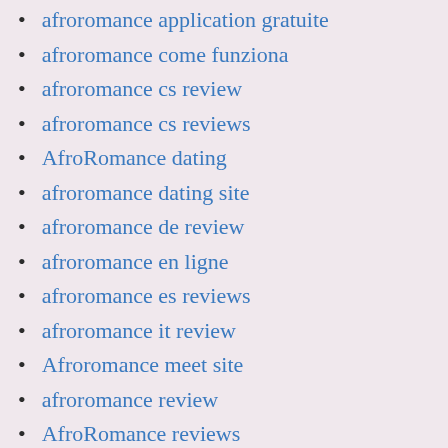afroromance application gratuite
afroromance come funziona
afroromance cs review
afroromance cs reviews
AfroRomance dating
afroromance dating site
afroromance de review
afroromance en ligne
afroromance es reviews
afroromance it review
Afroromance meet site
afroromance review
AfroRomance reviews
afroromance revisi?n
afroromance visitors
afroromance_NL dating
afroromance_NL reviews